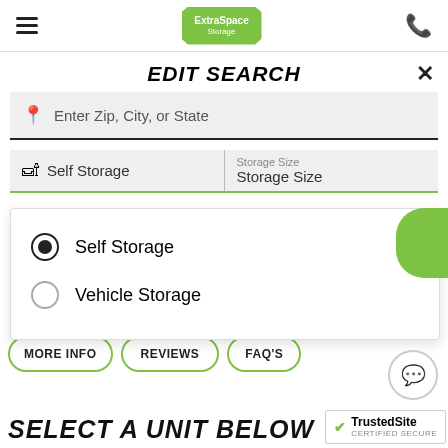[Figure (logo): Extra Space Storage logo badge with green background]
EDIT SEARCH
Enter Zip, City, or State
Self Storage
Storage Size
Storage Size
Self Storage (selected radio option)
Vehicle Storage
MORE INFO
REVIEWS
FAQ'S
SELECT A UNIT BELOW
[Figure (logo): TrustedSite Certified Secure badge]